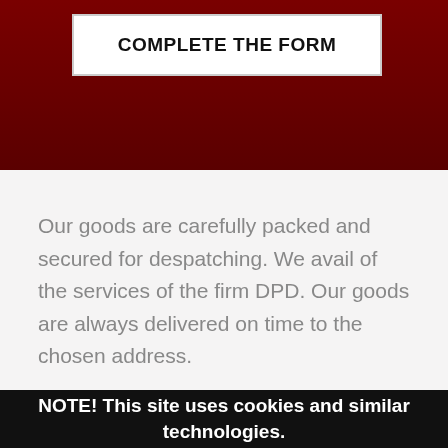COMPLETE THE FORM
Our goods are carefully packed and secured for despatching. We avail of the services of the firm DPD. Our goods are always delivered on time to the chosen address.
NOTE! This site uses cookies and similar technologies.